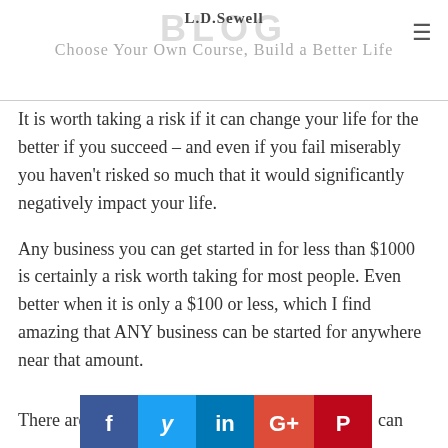L.D.Sewell BLOG
Choose Your Own Course, Build a Better Life
It is worth taking a risk if it can change your life for the better if you succeed – and even if you fail miserably you haven't risked so much that it would significantly negatively impact your life.
Any business you can get started in for less than $1000 is certainly a risk worth taking for most people. Even better when it is only a $100 or less, which I find amazing that ANY business can be started for anywhere near that amount.
There are s[social bar overlay]can come up with that much money every month without